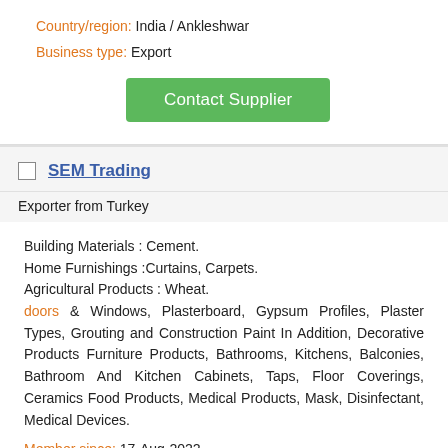Country/region: India / Ankleshwar
Business type: Export
Contact Supplier
SEM Trading
Exporter from Turkey
Building Materials : Cement.
Home Furnishings :Curtains, Carpets.
Agricultural Products : Wheat.
doors & Windows, Plasterboard, Gypsum Profiles, Plaster Types, Grouting and Construction Paint In Addition, Decorative Products Furniture Products, Bathrooms, Kitchens, Balconies, Bathroom And Kitchen Cabinets, Taps, Floor Coverings, Ceramics Food Products, Medical Products, Mask, Disinfectant, Medical Devices.
Member since: 17-Aug-2022
Yr of Est: 2000